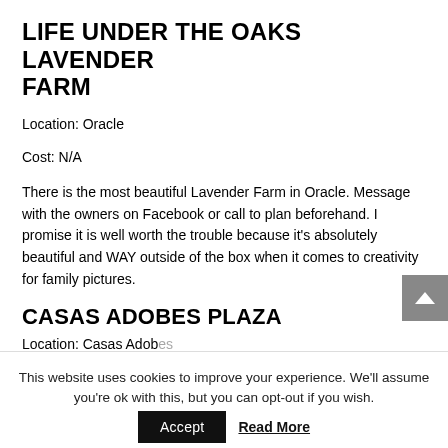LIFE UNDER THE OAKS LAVENDER FARM
Location: Oracle
Cost: N/A
There is the most beautiful Lavender Farm in Oracle. Message with the owners on Facebook or call to plan beforehand. I promise it is well worth the trouble because it's absolutely beautiful and WAY outside of the box when it comes to creativity for family pictures.
CASAS ADOBES PLAZA
Location: Casas Adobes
This website uses cookies to improve your experience. We'll assume you're ok with this, but you can opt-out if you wish.